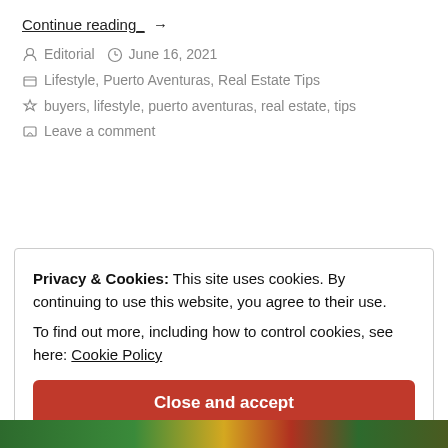Continue reading →
Editorial  June 16, 2021
Lifestyle, Puerto Aventuras, Real Estate Tips
buyers, lifestyle, puerto aventuras, real estate, tips
Leave a comment
Privacy & Cookies: This site uses cookies. By continuing to use this website, you agree to their use.
To find out more, including how to control cookies, see here: Cookie Policy
Close and accept
[Figure (photo): Colorful photo strip visible at bottom of page]